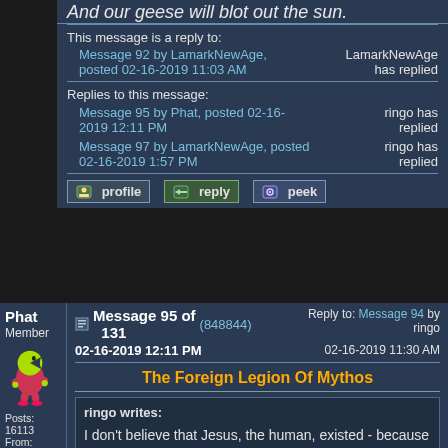And our geese will blot out the sun.
This message is a reply to:
Message 92 by LamarkNewAge, posted 02-16-2019 11:03 AM — LamarkNewAge has replied
Replies to this message:
Message 95 by Phat, posted 02-16-2019 12:11 PM — ringo has replied
Message 97 by LamarkNewAge, posted 02-16-2019 1:57 PM — ringo has replied
profile  reply  peek
Phat Member Posts: 16113 From:
Message 95 of 131 (848844) 02-16-2019 12:11 PM — Reply to: Message 94 by ringo 02-16-2019 11:30 AM
The Foreign Legion Of Mythos
ringo writes: I don't believe that Jesus, the human, existed - because there is no solid evidence that he existed. I think the